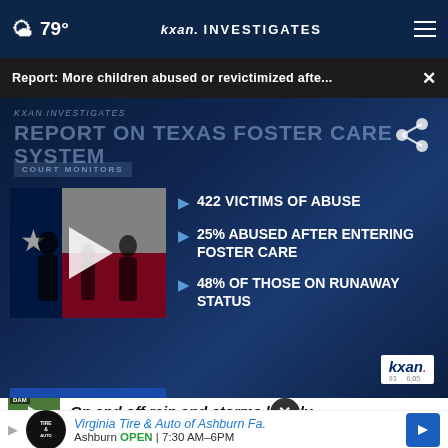79° kxan. INVESTIGATES
Report: More children abused or revictimized afte... ×
[Figure (screenshot): KXAN Investigates video thumbnail showing Report on Texas Foster Care System - Court Monitors, with Texas flag silhouette and statistics: 422 VICTIMS OF ABUSE, 25% ABUSED AFTER ENTERING FOSTER CARE, 48% OF THOSE ON RUNAWAY STATUS]
On and off rain and storms likely
Virginia Tire & Auto of Ashburn Fa.
Ashburn OPEN 7:30 AM–6PM
Man injured after officer shooting